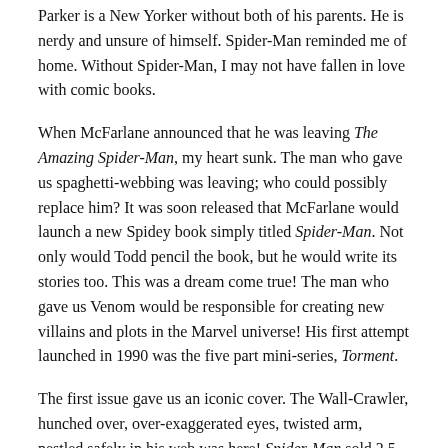Parker is a New Yorker without both of his parents. He is nerdy and unsure of himself. Spider-Man reminded me of home. Without Spider-Man, I may not have fallen in love with comic books.
When McFarlane announced that he was leaving The Amazing Spider-Man, my heart sunk. The man who gave us spaghetti-webbing was leaving; who could possibly replace him? It was soon released that McFarlane would launch a new Spidey book simply titled Spider-Man. Not only would Todd pencil the book, but he would write its stories too. This was a dream come true! The man who gave us Venom would be responsible for creating new villains and plots in the Marvel universe! His first attempt launched in 1990 was the five part mini-series, Torment.
The first issue gave us an iconic cover. The Wall-Crawler, hunched over, over-exaggerated eyes, twisted arm, nestled safely in his web was here! Spider-Man sold 2.5